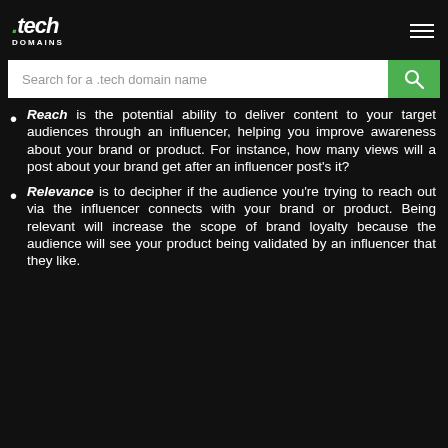.tech DOMAINS
Reach is the potential ability to deliver content to your target audiences through an influencer, helping you improve awareness about your brand or product. For instance, how many views will a post about your brand get after an influencer post's it?
Relevance is to decipher if the audience you're trying to reach out via the influencer connects with your brand or product. Being relevant will increase the scope of brand loyalty because the audience will see your product being validated by an influencer that they like.